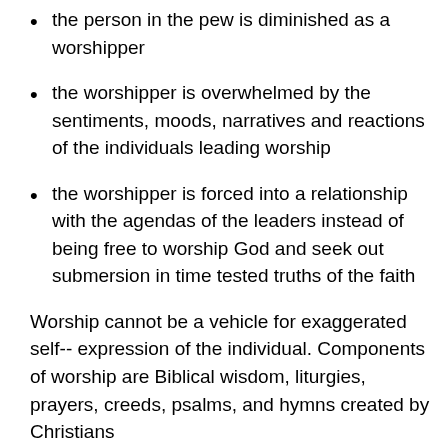the person in the pew is diminished as a worshipper
the worshipper is overwhelmed by the sentiments, moods, narratives and reactions of the individuals leading worship
the worshipper is forced into a relationship with the agendas of the leaders instead of being free to worship God and seek out submersion in time tested truths of the faith
Worship cannot be a vehicle for exaggerated self-- expression of the individual. Components of worship are Biblical wisdom, liturgies, prayers, creeds, psalms, and hymns created by Christians…